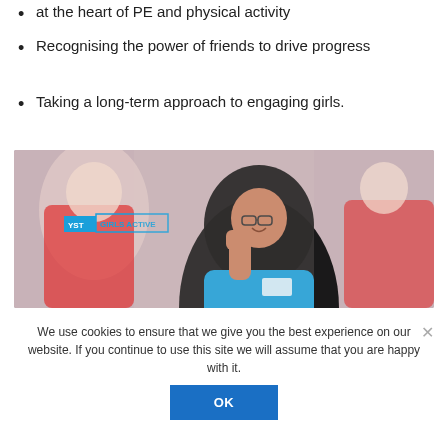at the heart of PE and physical activity
Recognising the power of friends to drive progress
Taking a long-term approach to engaging girls.
[Figure (photo): A smiling young woman wearing a black hijab and blue jacket, raising a fist in celebration, with a 'YST GIRLS ACTIVE' logo overlay. Other people visible in background.]
We use cookies to ensure that we give you the best experience on our website. If you continue to use this site we will assume that you are happy with it.